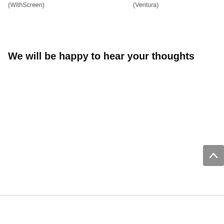(WithScreen)
(Ventura)
We will be happy to hear your thoughts